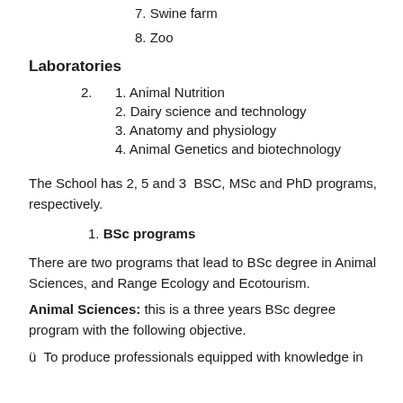7. Swine farm
8. Zoo
Laboratories
2.   1. Animal Nutrition
2. Dairy science and technology
3. Anatomy and physiology
4. Animal Genetics and biotechnology
The School has 2, 5 and 3  BSC, MSc and PhD programs, respectively.
1. BSc programs
There are two programs that lead to BSc degree in Animal Sciences, and Range Ecology and Ecotourism.
Animal Sciences: this is a three years BSc degree program with the following objective.
ü  To produce professionals equipped with knowledge in